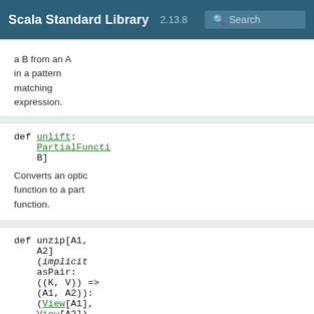Scala Standard Library 2.13.8 Search
a B from an A in a pattern matching expression.
def unlift: PartialFuncti B]
Converts an optic function to a part function.
def unzip[A1, A2](implicit asPair: ((K, V)) => (A1, A2)): (View[A1], View[A2])
Converts this map of pairs into two collections.